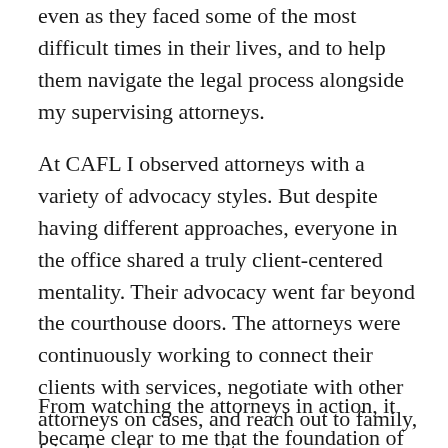even as they faced some of the most difficult times in their lives, and to help them navigate the legal process alongside my supervising attorneys.
At CAFL I observed attorneys with a variety of advocacy styles. But despite having different approaches, everyone in the office shared a truly client-centered mentality. Their advocacy went far beyond the courthouse doors. The attorneys were continuously working to connect their clients with services, negotiate with other attorneys on cases, and reach out to family, friends, and community resources.
From watching the attorneys in action, it became clear to me that the foundation of their strong